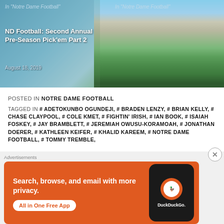[Figure (photo): Aerial view of Notre Dame football stadium with bleachers visible, overlaid with article link text 'In Notre Dame Football' on left and right, and article title 'ND Football: Second Annual Pre-Season Pick'em Part 2' with date August 18, 2019]
POSTED IN NOTRE DAME FOOTBALL
TAGGED IN # ADETOKUNBO OGUNDEJI, # BRADEN LENZY, # BRIAN KELLY, # CHASE CLAYPOOL, # COLE KMET, # FIGHTIN' IRISH, # IAN BOOK, # ISAIAH FOSKEY, # JAY BRAMBLETT, # JEREMIAH OWUSU-KORAMOAH, # JONATHAN DOERER, # KATHLEEN KEIFER, # KHALID KAREEM, # NOTRE DAME FOOTBALL, # TOMMY TREMBLE,
[Figure (screenshot): DuckDuckGo advertisement banner: orange background with text 'Search, browse, and email with more privacy. All in One Free App' and a phone showing the DuckDuckGo logo. Labeled 'Advertisements' above.]